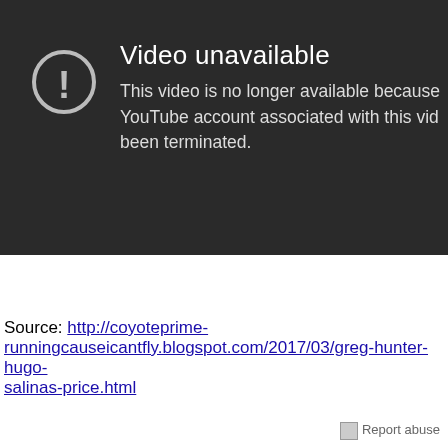[Figure (screenshot): YouTube 'Video unavailable' error screen on dark background with exclamation icon circle and text reading: 'Video unavailable. This video is no longer available because the YouTube account associated with this video has been terminated.']
Source: http://coyoteprime-runningcauseicantfly.blogspot.com/2017/03/greg-hunter-hugo-salinas-price.html
Report abuse